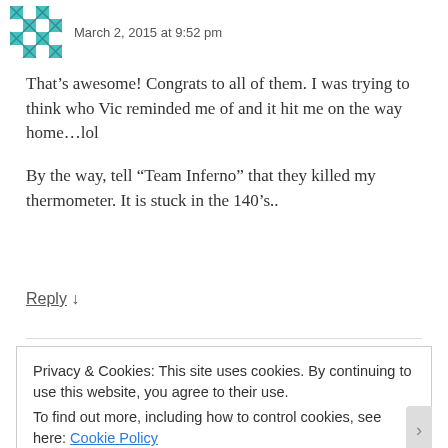March 2, 2015 at 9:52 pm
That’s awesome! Congrats to all of them. I was trying to think who Vic reminded me of and it hit me on the way home…lol
By the way, tell “Team Inferno” that they killed my thermometer. It is stuck in the 140’s..
Reply ↓
Privacy & Cookies: This site uses cookies. By continuing to use this website, you agree to their use.
To find out more, including how to control cookies, see here: Cookie Policy
Close and accept